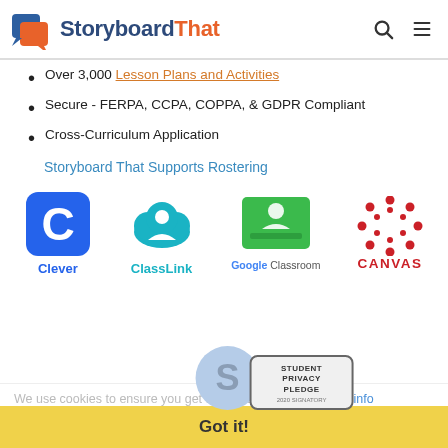StoryboardThat
Over 3,000 Lesson Plans and Activities
Secure - FERPA, CCPA, COPPA, & GDPR Compliant
Cross-Curriculum Application
Storyboard That Supports Rostering
[Figure (logo): Platform logos: Clever, ClassLink, Google Classroom, Canvas]
We use cookies to ensure you get the best experience. More info
Got it!